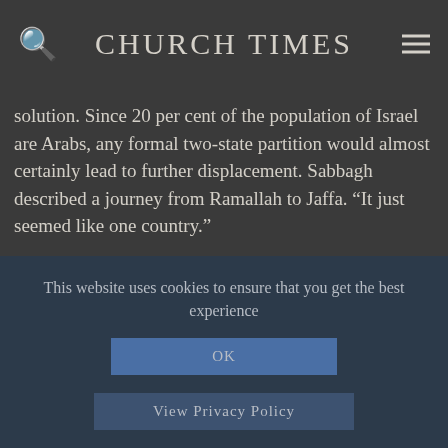CHURCH TIMES
solution. Since 20 per cent of the population of Israel are Arabs, any formal two-state partition would almost certainly lead to further displacement. Sabbagh described a journey from Ramallah to Jaffa. “It just seemed like one country.”
THERE was a première of a new play from Theatre 17: A Fearful Symmetry, an exploration of William Blake’s thought, language, and theology, by Stephen Loveless. Robin Hillman played Blake, and performed songs and poems as
This website uses cookies to ensure that you get the best experience
OK
View Privacy Policy